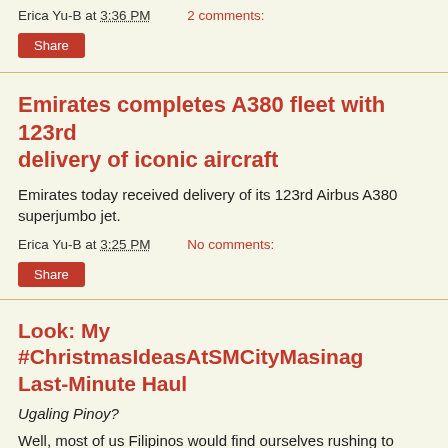Erica Yu-B at 3:36 PM    2 comments:
Share
Emirates completes A380 fleet with 123rd delivery of iconic aircraft
Emirates today received delivery of its 123rd Airbus A380 superjumbo jet.
Erica Yu-B at 3:25 PM    No comments:
Share
Look: My #ChristmasIdeasAtSMCityMasinag Last-Minute Haul
Ugaling Pinoy?
Well, most of us Filipinos would find ourselves rushing to